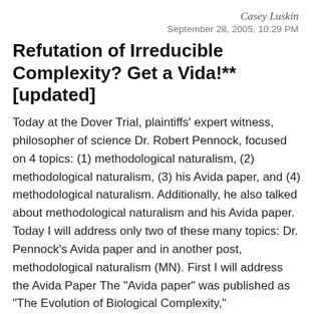Casey Luskin
September 28, 2005, 10:29 PM
Refutation of Irreducible Complexity? Get a Vida!** [updated]
Today at the Dover Trial, plaintiffs’ expert witness, philosopher of science Dr. Robert Pennock, focused on 4 topics: (1) methodological naturalism, (2) methodological naturalism, (3) his Avida paper, and (4) methodological naturalism. Additionally, he also talked about methodological naturalism and his Avida paper. Today I will address only two of these many topics: Dr. Pennock’s Avida paper and in another post, methodological naturalism (MN). First I will address the Avida Paper The “Avida paper” was published as “The Evolution of Biological Complexity,”